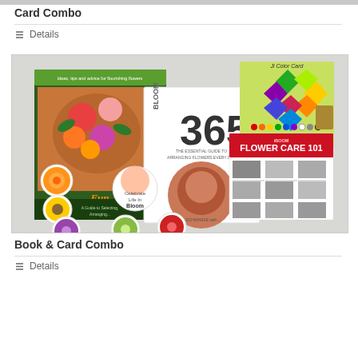Card Combo
Details
[Figure (photo): Product photo showing flower-related books and materials including 'Fun with Flowers' book, 'Bloom 365 The Essential Guide to Arranging Flowers Every Day' book, a color card, Flower Care 101 pamphlet, and several circular flower pin/button magnets on a gray background.]
Book & Card Combo
Details